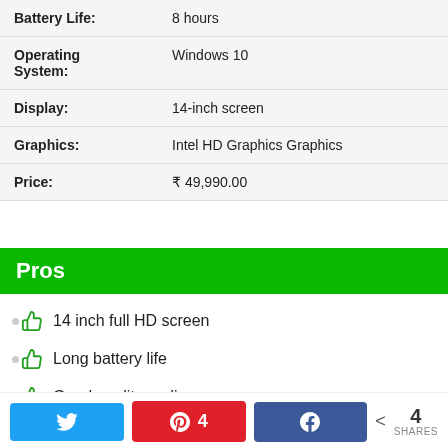| Attribute | Value |
| --- | --- |
| Battery Life: | 8 hours |
| Operating System: | Windows 10 |
| Display: | 14-inch screen |
| Graphics: | Intel HD Graphics Graphics |
| Price: | ₹ 49,990.00 |
Pros
14 inch full HD screen
Long battery life
Good quality audio
Twitter share | Pinterest 4 | Facebook share | 4 SHARES